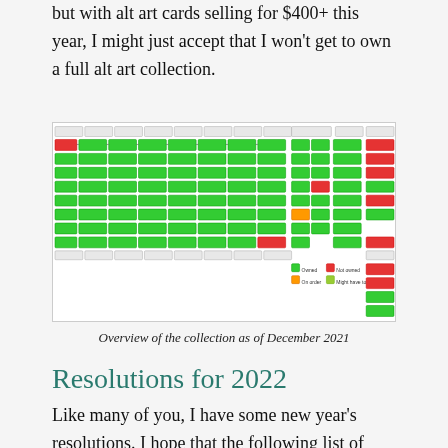but with alt art cards selling for $400+ this year, I might just accept that I won't get to own a full alt art collection.
[Figure (flowchart): Overview of a Magic: The Gathering card collection tracking flowchart with green, red, and orange color-coded nodes representing owned, not owned, and on-order status, with columns for different card categories and a legend at the bottom.]
Overview of the collection as of December 2021
Resolutions for 2022
Like many of you, I have some new year's resolutions. I hope that the following list of articles will be completed this time next year. I do not promise that it will be completely done, but I will